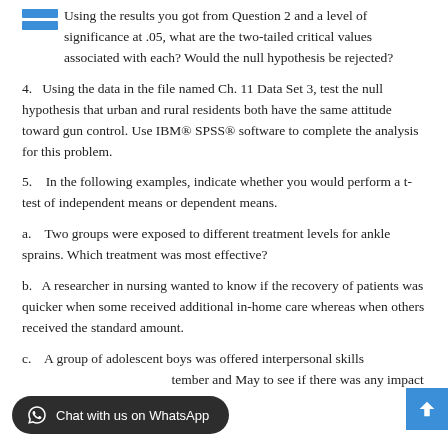Using the results you got from Question 2 and a level of significance at .05, what are the two-tailed critical values associated with each? Would the null hypothesis be rejected?
4.    Using the data in the file named Ch. 11 Data Set 3, test the null hypothesis that urban and rural residents both have the same attitude toward gun control. Use IBM® SPSS® software to complete the analysis for this problem.
5.    In the following examples, indicate whether you would perform a t-test of independent means or dependent means.
a.    Two groups were exposed to different treatment levels for ankle sprains. Which treatment was most effective?
b.    A researcher in nursing wanted to know if the recovery of patients was quicker when some received additional in-home care whereas when others received the standard amount.
c.    A group of adolescent boys was offered interpersonal skills [Chat with us on WhatsApp] tember and May to see if there was any impact on family harmony.